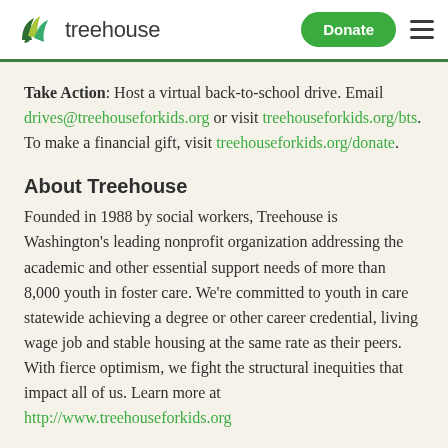treehouse — Donate
Take Action: Host a virtual back-to-school drive. Email drives@treehouseforkids.org or visit treehouseforkids.org/bts. To make a financial gift, visit treehouseforkids.org/donate.
About Treehouse
Founded in 1988 by social workers, Treehouse is Washington's leading nonprofit organization addressing the academic and other essential support needs of more than 8,000 youth in foster care. We're committed to youth in care statewide achieving a degree or other career credential, living wage job and stable housing at the same rate as their peers. With fierce optimism, we fight the structural inequities that impact all of us. Learn more at http://www.treehouseforkids.org